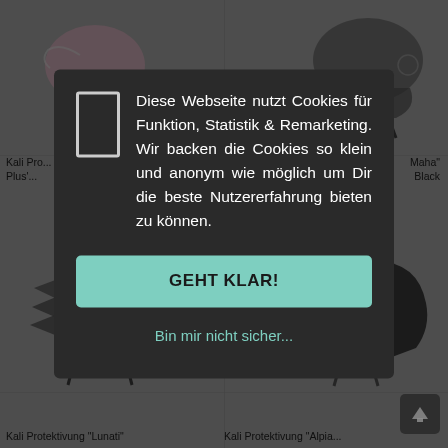[Figure (screenshot): Background of a German e-commerce product page showing bicycle helmets (Kali Protectives brand) in a two-column grid, dimmed behind a cookie consent modal.]
Kali Pr... Plus'... Maha" Black
Diese Webseite nutzt Cookies für Funktion, Statistik & Remarketing. Wir backen die Cookies so klein und anonym wie möglich um Dir die beste Nutzererfahrung bieten zu können.
GEHT KLAR!
Bin mir nicht sicher...
Kali Protektivung "Lunati"
Kali Protektivung "Alpia..."